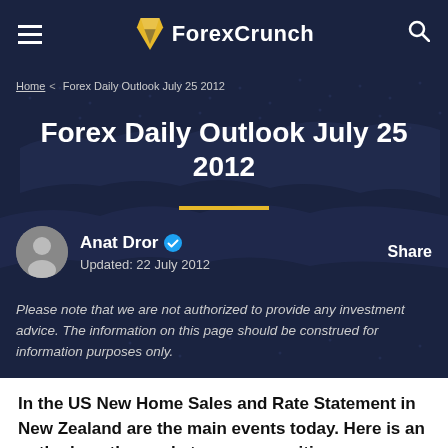ForexCrunch
Home > Forex Daily Outlook July 25 2012
Forex Daily Outlook July 25 2012
Anat Dror
Updated: 22 July 2012
Please note that we are not authorized to provide any investment advice. The information on this page should be construed for information purposes only.
In the US New Home Sales and Rate Statement in New Zealand are the main events today.   Here is an outlook on the market-movers awaiting us